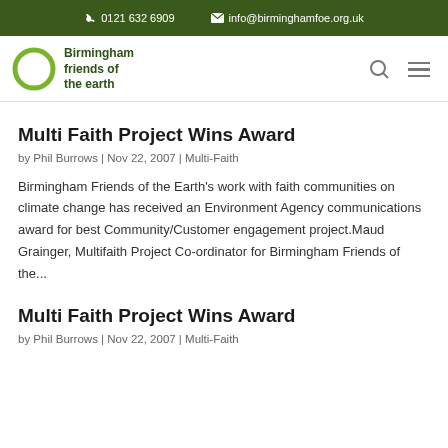0121 632 6909   info@birminghamfoe.org.uk
[Figure (logo): Birmingham Friends of the Earth logo — green circle outline with bold green text 'Birmingham friends of the earth']
Multi Faith Project Wins Award
by Phil Burrows | Nov 22, 2007 | Multi-Faith
Birmingham Friends of the Earth's work with faith communities on climate change has received an Environment Agency communications award for best Community/Customer engagement project.Maud Grainger, Multifaith Project Co-ordinator for Birmingham Friends of the...
Multi Faith Project Wins Award
by Phil Burrows | Nov 22, 2007 | Multi-Faith